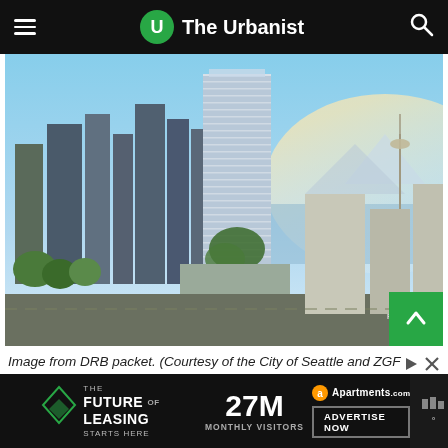The Urbanist
[Figure (photo): Aerial rendering of a tall modern tower development in Seattle, with the Space Needle visible in the background, showing surrounding cityscape and streets.]
Image from DRB packet. (Courtesy of the City of Seattle and ZGF Architects)
[Figure (infographic): Bottom advertisement bar showing 'The Future of Leasing Starts Here', '27M Monthly Visitors', Apartments.com logo, and 'Advertise Now' button.]